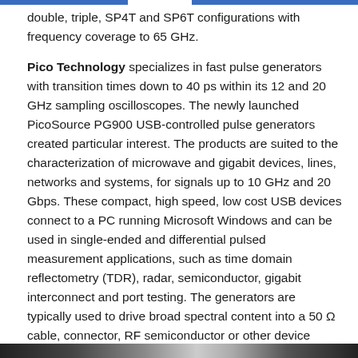double, triple, SP4T and SP6T configurations with frequency coverage to 65 GHz.
Pico Technology specializes in fast pulse generators with transition times down to 40 ps within its 12 and 20 GHz sampling oscilloscopes. The newly launched PicoSource PG900 USB-controlled pulse generators created particular interest. The products are suited to the characterization of microwave and gigabit devices, lines, networks and systems, for signals up to 10 GHz and 20 Gbps. These compact, high speed, low cost USB devices connect to a PC running Microsoft Windows and can be used in single-ended and differential pulsed measurement applications, such as time domain reflectometry (TDR), radar, semiconductor, gigabit interconnect and port testing. The generators are typically used to drive broad spectral content into a 50 Ω cable, connector, RF semiconductor or other device under test. The reflected or transmitted pulse can then be monitored and displayed by a broadband or sampling oscilloscope.